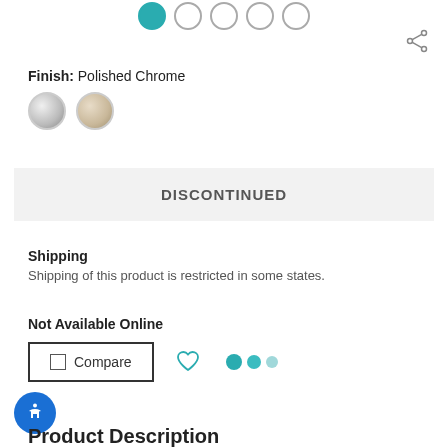[Figure (illustration): Color swatch selector dots: one filled teal circle and four outlined circles]
[Figure (illustration): Share icon (network share symbol)]
Finish: Polished Chrome
[Figure (illustration): Two finish circles: Polished Chrome (silver/grey) and a champagne/brushed finish]
DISCONTINUED
Shipping
Shipping of this product is restricted in some states.
Not Available Online
[Figure (illustration): Compare checkbox button, heart/wishlist icon, and three teal sharing dots]
[Figure (illustration): Blue circular accessibility button with person icon]
Product Description